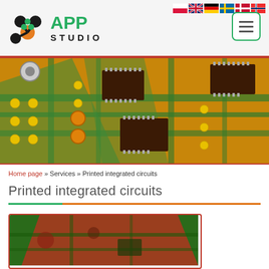APP Studio website header with logo and navigation flags
[Figure (photo): Close-up photograph of a printed circuit board (PCB) with orange substrate, green traces, and multiple black IC chips mounted on it]
Home page » Services » Printed integrated circuits
Printed integrated circuits
[Figure (photo): Photo of a printed integrated circuit / PCB with red and green coloring, shown with an orange border frame]